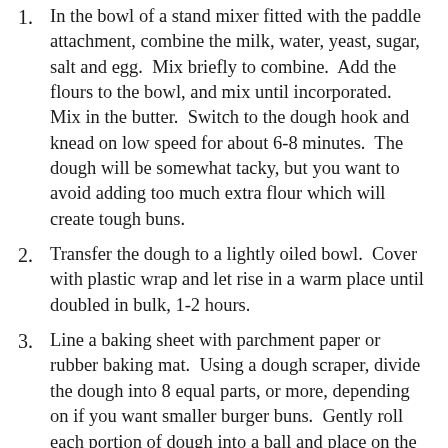In the bowl of a stand mixer fitted with the paddle attachment, combine the milk, water, yeast, sugar, salt and egg.  Mix briefly to combine.  Add the flours to the bowl, and mix until incorporated.  Mix in the butter.  Switch to the dough hook and knead on low speed for about 6-8 minutes.  The dough will be somewhat tacky, but you want to avoid adding too much extra flour which will create tough buns.
Transfer the dough to a lightly oiled bowl.  Cover with plastic wrap and let rise in a warm place until doubled in bulk, 1-2 hours.
Line a baking sheet with parchment paper or rubber baking mat.  Using a dough scraper, divide the dough into 8 equal parts, or more, depending on if you want smaller burger buns.  Gently roll each portion of dough into a ball and place on the baking sheet, 2-3 inches apart.  Cover loosely with lightly oiled plastic wrap